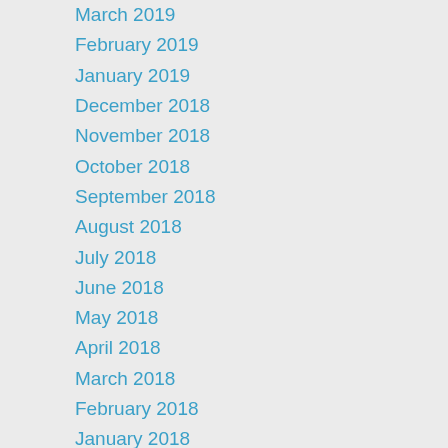March 2019
February 2019
January 2019
December 2018
November 2018
October 2018
September 2018
August 2018
July 2018
June 2018
May 2018
April 2018
March 2018
February 2018
January 2018
December 2017
November 2017
October 2017
September 2017
August 2017
July 2017
June 2017